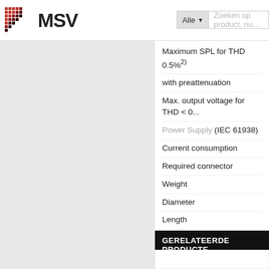MSV | Alle | Zoeken op product, nu...
Maximum SPL for THD 0.5%2)
with preattenuation
Max. output voltage for THD < 0...
Power Supply (IEC 61938)
Current consumption
Required connector
Weight
Diameter
Length
1) according to IEC 60268-1; CC... 61672-1, RMS
2) measured as equivalent el. in...
GERELATEERDE PRODUCTE...